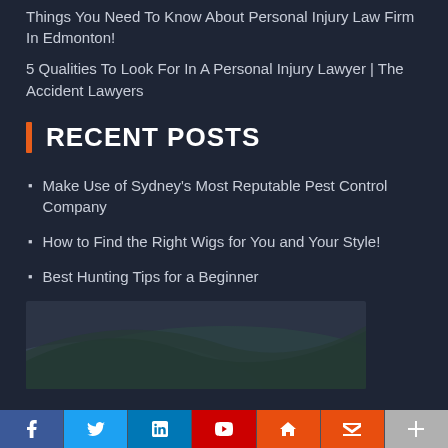Things You Need To Know About Personal Injury Law Firm In Edmonton!
5 Qualities To Look For In A Personal Injury Lawyer | The Accident Lawyers
RECENT POSTS
Make Use of Sydney's Most Reputable Pest Control Company
How to Find the Right Wigs for You and Your Style!
Best Hunting Tips for a Beginner
[Figure (photo): Partial image visible at bottom of page, showing abstract curves in dark teal/grey tones]
Social media sharing icons: Facebook, Twitter, LinkedIn, YouTube, Email, Plus